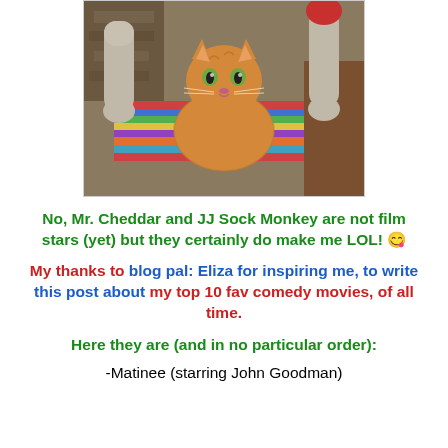[Figure (photo): Photo of an orange fluffy cat (Mr. Cheddar) sitting between two sock monkey arms/dolls on a colorful striped cushion]
No, Mr. Cheddar and JJ Sock Monkey are not film stars (yet) but they certainly do make me LOL! 😉
My thanks to blog pal: Eliza for inspiring me, to write this post about my top 10 fav comedy movies, of all time.
Here they are (and in no particular order):
-Matinee (starring John Goodman)